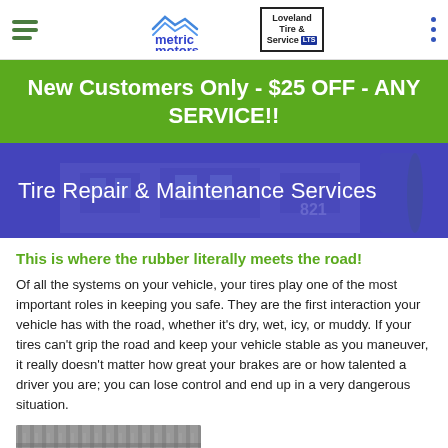metric motors | Loveland Tire & Service
New Customers Only - $25 OFF - ANY SERVICE!!
Tire Repair & Maintenance Services
This is where the rubber literally meets the road!
Of all the systems on your vehicle, your tires play one of the most important roles in keeping you safe. They are the first interaction your vehicle has with the road, whether it's dry, wet, icy, or muddy. If your tires can't grip the road and keep your vehicle stable as you maneuver, it really doesn't matter how great your brakes are or how talented a driver you are; you can lose control and end up in a very dangerous situation.
[Figure (photo): Grayscale photo of tire tread on a road surface]